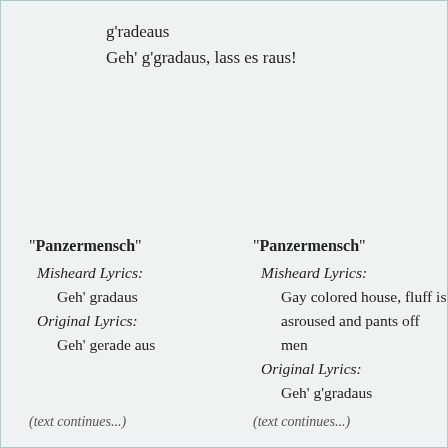g'radeaus
Geh' g'gradaus, lass es raus!
"Panzermensch"
Misheard Lyrics:
Geh' gradaus
Original Lyrics:
Geh' gerade aus
"Panzermensch"
Misheard Lyrics:
Gay colored house, fluff is asroused and pants off men
Original Lyrics:
Geh' g'gradaus
(partially cut off at bottom)